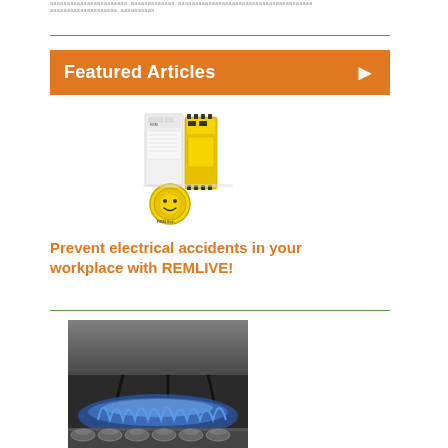aaaaaaaaaaaaaaaaaaaaaaa aaaaaaaaaaaaa aaaaaaaaaaaaaaaaaaaaaaaaaaaaaaaaaaaaaaaa aaaaaaaaaaaaaaaaaaaa aaaaaaaaaa
Featured Articles
[Figure (photo): Industrial safety relay module and insulation monitoring device (REMLIVE product) — a yellow DIN-rail module with connectors and a round yellow indicator disc]
Prevent electrical accidents in your workplace with REMLIVE!
[Figure (photo): Industrial heating element or burner with blue flame and rollers/grate below, viewed from underneath]